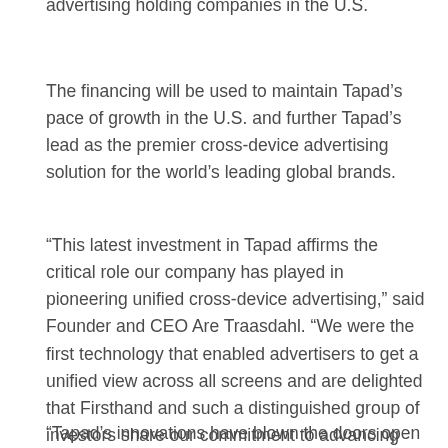advertising holding companies in the U.S.
The financing will be used to maintain Tapad's pace of growth in the U.S. and further Tapad's lead as the premier cross-device advertising solution for the world's leading global brands.
“This latest investment in Tapad affirms the critical role our company has played in pioneering unified cross-device advertising,” said Founder and CEO Are Traasdahl. “We were the first technology that enabled advertisers to get a unified view across all screens and are delighted that Firsthand and such a distinguished group of investors share our commitment to advancing this field.”
“Tapad’s innovations have blown the doors open for